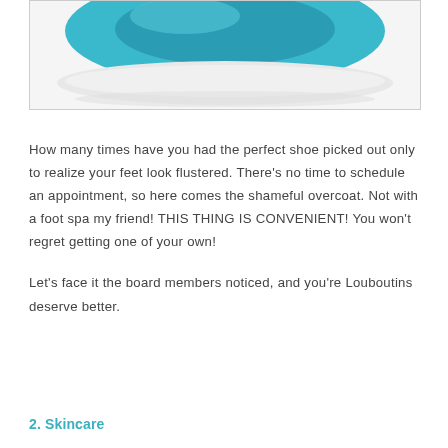[Figure (photo): Partial view of a teal/turquoise foot spa bowl on a white base, photographed from above against a white background.]
How many times have you had the perfect shoe picked out only to realize your feet look flustered. There’s no time to schedule an appointment, so here comes the shameful overcoat. Not with a foot spa my friend! THIS THING IS CONVENIENT! You won’t regret getting one of your own!
Let’s face it the board members noticed, and you’re Louboutins deserve better.
2. Skincare